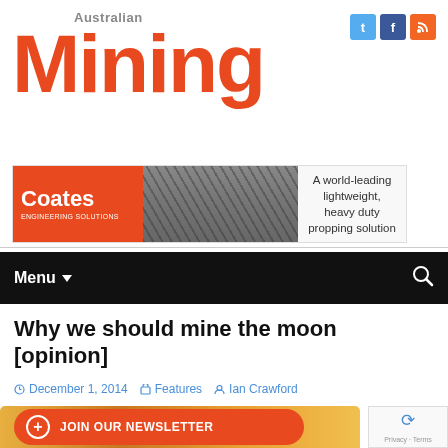[Figure (logo): Australian Mining magazine logo with large red 'Mining' wordmark and 'Australian' text above]
[Figure (infographic): Coates Engineering Solutions advertisement banner: orange left panel with Coates logo, photo of construction site in middle, text 'A world-leading lightweight, heavy duty propping solution' on right]
Menu
Why we should mine the moon [opinion]
December 1, 2014   Features   Ian Crawford
[Figure (infographic): JOIN OUR NEWSLETTER button in orange, and partial bottom image showing 'MAKING !' text on a colorful background]